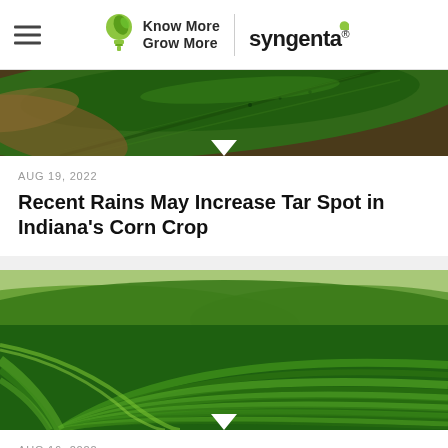Know More Grow More | syngenta
[Figure (photo): Close-up photo of a corn plant leaf with dried leaves and soil in background]
AUG 19, 2022
Recent Rains May Increase Tar Spot in Indiana's Corn Crop
[Figure (photo): Aerial view of a green crop field with curved rows of crops forming a sweeping pattern]
AUG 16, 2022